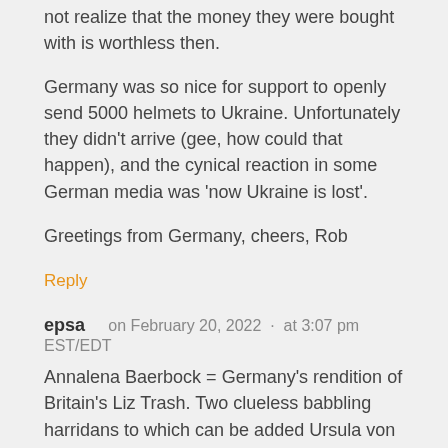not realize that the money they were bought with is worthless then.
Germany was so nice for support to openly send 5000 helmets to Ukraine. Unfortunately they didn't arrive (gee, how could that happen), and the cynical reaction in some German media was 'now Ukraine is lost'.
Greetings from Germany, cheers, Rob
Reply
epsa   on February 20, 2022  ·  at 3:07 pm EST/EDT
Annalena Baerbock = Germany's rendition of Britain's Liz Trash. Two clueless babbling harridans to which can be added Ursula von der Leyen and a whole fistful of Russophobes in zone A of the fairer sex. Scholz might not be entirely certified garbage, but it really hurts when looking at what true top-class leaderships elsewhere are capable of.
Olaf Scholz
Dumm und stolz
Podet Schoißo — Kopf aus Holz